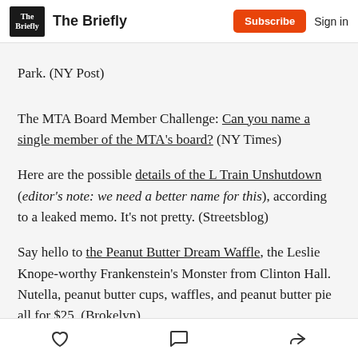The Briefly | Subscribe | Sign in
Park. (NY Post)
The MTA Board Member Challenge: Can you name a single member of the MTA's board? (NY Times)
Here are the possible details of the L Train Unshutdown (editor's note: we need a better name for this), according to a leaked memo. It's not pretty. (Streetsblog)
Say hello to the Peanut Butter Dream Waffle, the Leslie Knope-worthy Frankenstein's Monster from Clinton Hall. Nutella, peanut butter cups, waffles, and peanut butter pie all for $25. (Brokelyn)
Like | Comment | Share